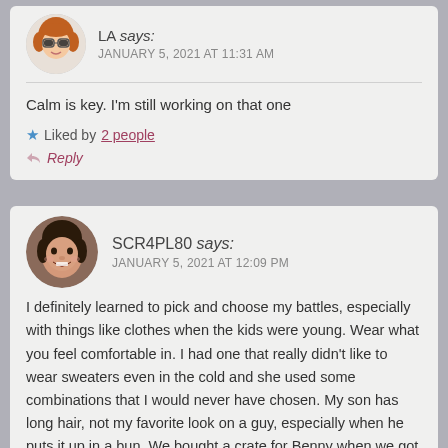[Figure (illustration): Circular avatar of a cartoon woman with red/brown hair and glasses]
LA says: JANUARY 5, 2021 AT 11:31 AM
Calm is key. I'm still working on that one
Liked by 2 people
Reply
[Figure (photo): Circular avatar photo of a smiling woman with dark hair]
SCR4PL80 says: JANUARY 5, 2021 AT 12:09 PM
I definitely learned to pick and choose my battles, especially with things like clothes when the kids were young. Wear what you feel comfortable in. I had one that really didn't like to wear sweaters even in the cold and she used some combinations that I would never have chosen. My son has long hair, not my favorite look on a guy, especially when he puts it up in a bun. We bought a crate for Benny when we got him but my husband refused to let us use it, staying home to be with the dog.